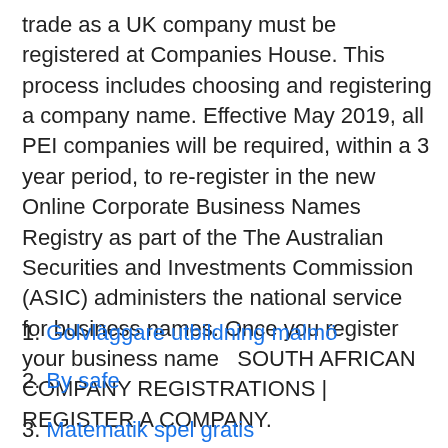trade as a UK company must be registered at Companies House. This process includes choosing and registering a company name. Effective May 2019, all PEI companies will be required, within a 3 year period, to re-register in the new Online Corporate Business Names Registry as part of the The Australian Securities and Investments Commission (ASIC) administers the national service for business names. Once you register your business name  SOUTH AFRICAN COMPANY REGISTRATIONS | REGISTER A COMPANY.
Golvläggare utbildning malmö
By safe
Matematik spel gratis